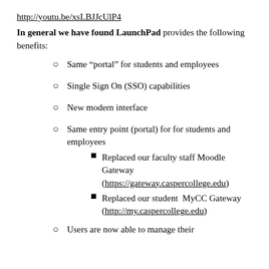http://youtu.be/xsLBJJcUlP4
In general we have found LaunchPad provides the following benefits:
Same “portal” for students and employees
Single Sign On (SSO) capabilities
New modern interface
Same entry point (portal) for for students and employees
  - Replaced our faculty staff Moodle Gateway (https://gateway.caspercollege.edu)
  - Replaced our student MyCC Gateway (http://my.caspercollege.edu)
Users are now able to manage their...